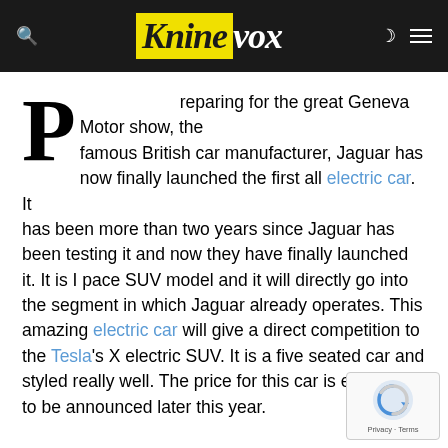Kninevox
Preparing for the great Geneva Motor show, the famous British car manufacturer, Jaguar has now finally launched the first all electric car. It has been more than two years since Jaguar has been testing it and now they have finally launched it. It is I pace SUV model and it will directly go into the segment in which Jaguar already operates. This amazing electric car will give a direct competition to the Tesla's X electric SUV. It is a five seated car and styled really well. The price for this car is expected to be announced later this year.